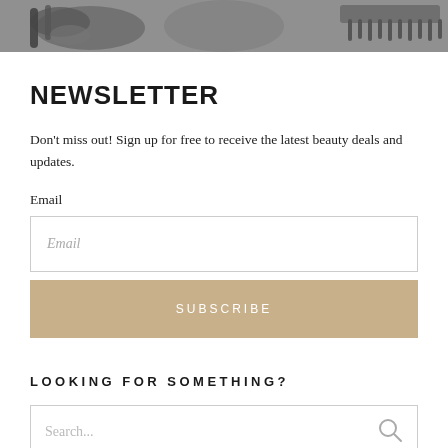[Figure (photo): Partial photo strip at top showing beauty/hair accessories in grayscale]
NEWSLETTER
Don't miss out! Sign up for free to receive the latest beauty deals and updates.
Email
Email (input placeholder)
SUBSCRIBE
LOOKING FOR SOMETHING?
Search... (input placeholder)